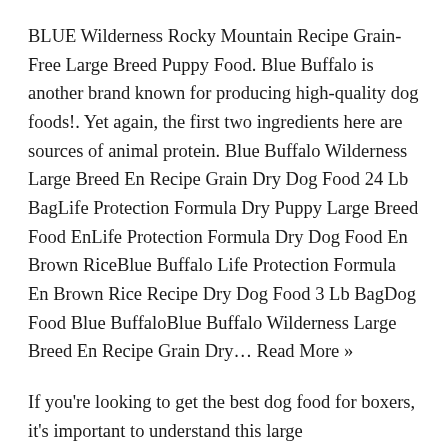BLUE Wilderness Rocky Mountain Recipe Grain-Free Large Breed Puppy Food. Blue Buffalo is another brand known for producing high-quality dog foods!. Yet again, the first two ingredients here are sources of animal protein. Blue Buffalo Wilderness Large Breed En Recipe Grain Dry Dog Food 24 Lb BagLife Protection Formula Dry Puppy Large Breed Food EnLife Protection Formula Dry Dog Food En Brown RiceBlue Buffalo Life Protection Formula En Brown Rice Recipe Dry Dog Food 3 Lb BagDog Food Blue BuffaloBlue Buffalo Wilderness Large Breed En Recipe Grain Dry… Read More »
If you're looking to get the best dog food for boxers, it's important to understand this large